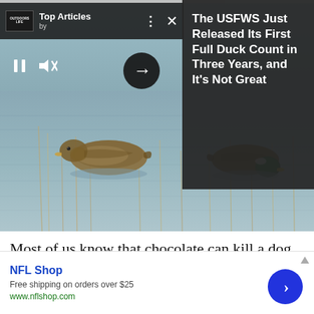[Figure (screenshot): Top Articles widget overlay on a duck photo. Shows Outdoor Life logo, 'Top Articles by' text, dots and X icons, and an article panel with dark background showing title 'The USFWS Just Released Its First Full Duck Count in Three Years, and It's Not Great'. Arrow navigation button visible. Video playback controls (pause bars and mute icon) at bottom left.]
[Figure (photo): Photograph of mallard ducks swimming in shallow water with reeds/marsh grass. One duck faces left, one faces right with green head visible.]
Most of us know that chocolate can kill a dog, but did you know grapes/raisins can too? What about the
NFL Shop
Free shipping on orders over $25
www.nflshop.com